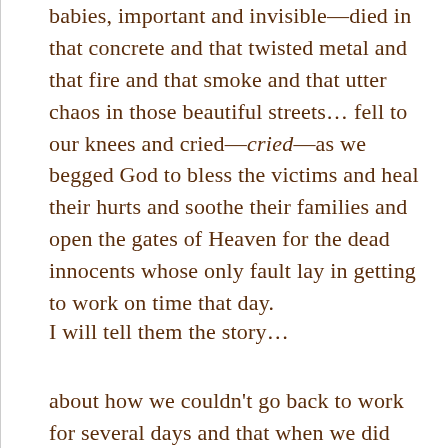babies, important and invisible—died in that concrete and that twisted metal and that fire and that smoke and that utter chaos in those beautiful streets… fell to our knees and cried—cried—as we begged God to bless the victims and heal their hurts and soothe their families and open the gates of Heaven for the dead innocents whose only fault lay in getting to work on time that day.
I will tell them the story…
about how we couldn't go back to work for several days and that when we did finally make it back